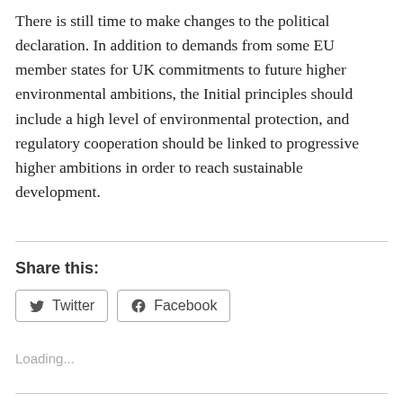There is still time to make changes to the political declaration. In addition to demands from some EU member states for UK commitments to future higher environmental ambitions, the Initial principles should include a high level of environmental protection, and regulatory cooperation should be linked to progressive higher ambitions in order to reach sustainable development.
Share this:
Loading...